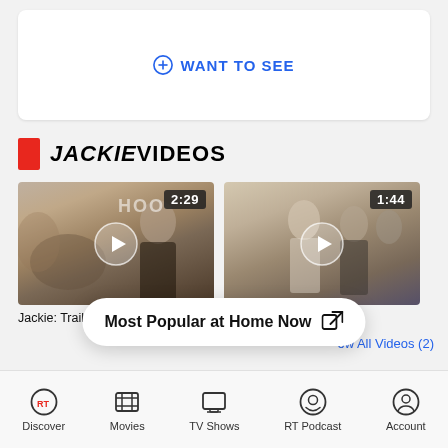+ WANT TO SEE
JACKIE VIDEOS
[Figure (screenshot): Video thumbnail 1 with play button and duration badge 2:29]
[Figure (screenshot): Video thumbnail 2 with play button and duration badge 1:44]
Jackie: Trailer 1
Jackie Teaser Trailer 1
Most Popular at Home Now
ow All Videos (2)
Discover  Movies  TV Shows  RT Podcast  Account